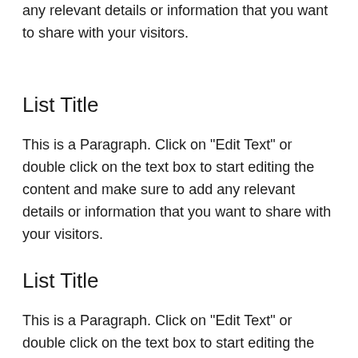any relevant details or information that you want to share with your visitors.
List Title
This is a Paragraph. Click on "Edit Text" or double click on the text box to start editing the content and make sure to add any relevant details or information that you want to share with your visitors.
List Title
This is a Paragraph. Click on "Edit Text" or double click on the text box to start editing the content and make sure to add any relevant details or information that you want to share with your visitors.